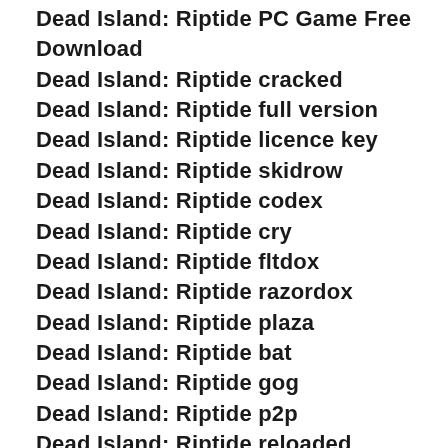Dead Island: Riptide PC Game Free Download
Dead Island: Riptide cracked
Dead Island: Riptide full version
Dead Island: Riptide licence key
Dead Island: Riptide skidrow
Dead Island: Riptide codex
Dead Island: Riptide cry
Dead Island: Riptide fltdox
Dead Island: Riptide razordox
Dead Island: Riptide plaza
Dead Island: Riptide bat
Dead Island: Riptide gog
Dead Island: Riptide p2p
Dead Island: Riptide reloaded
Dead Island: Riptide razor1911
Dead Island: Riptide hoodlum
Dead Island: Riptide darksiders